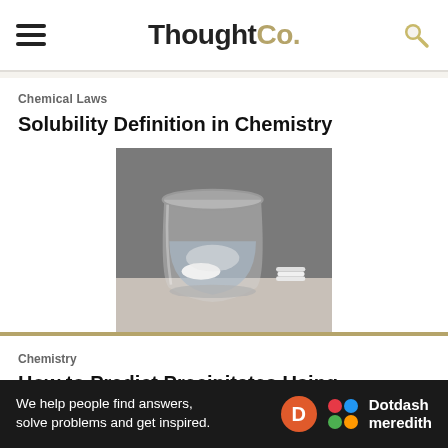ThoughtCo.
Chemical Laws
Solubility Definition in Chemistry
[Figure (photo): Black and white photo of a glass of water with a dissolving white tablet/pill inside, and a small stack of white tablets next to the glass on a surface.]
Chemistry
How to Predict Precipitates Using Solubility
We help people find answers, solve problems and get inspired.
[Figure (logo): Dotdash Meredith logo with orange D circle and colorful dots]